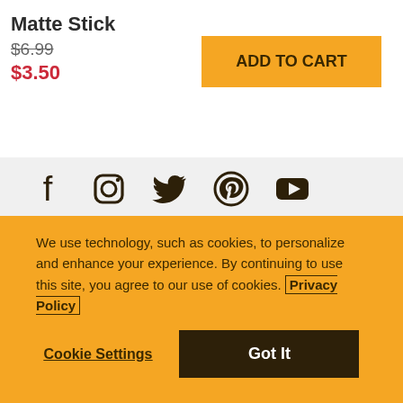Matte Stick
$6.99 $3.50
ADD TO CART
[Figure (infographic): Social media icons: Facebook, Instagram, Twitter, Pinterest, YouTube]
#myburtsbees
Website Accessibility
Burt's Bees is committed to making its website accessible for all users, and will continue to take all steps necessary to ensure compliance with applicable laws.
If you have difficulty accessing any content, feature or functionality on our
We use technology, such as cookies, to personalize and enhance your experience. By continuing to use this site, you agree to our use of cookies. Privacy Policy
Cookie Settings
Got It